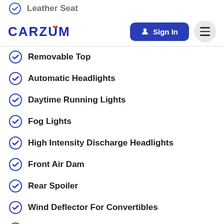Leather Seat
Removable Top
Automatic Headlights
Daytime Running Lights
Fog Lights
High Intensity Discharge Headlights
Front Air Dam
Rear Spoiler
Wind Deflector For Convertibles
Power Trunk Lid
Alloy Wheels